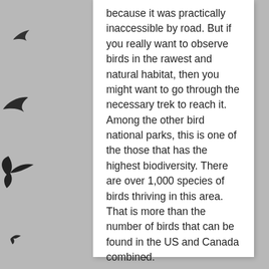[Figure (illustration): Gray background with black silhouettes of birds in flight scattered around the edges of the page]
because it was practically inaccessible by road. But if you really want to observe birds in the rawest and natural habitat, then you might want to go through the necessary trek to reach it. Among the other bird national parks, this is one of the those that has the highest biodiversity. There are over 1,000 species of birds thriving in this area. That is more than the number of birds that can be found in the US and Canada combined.